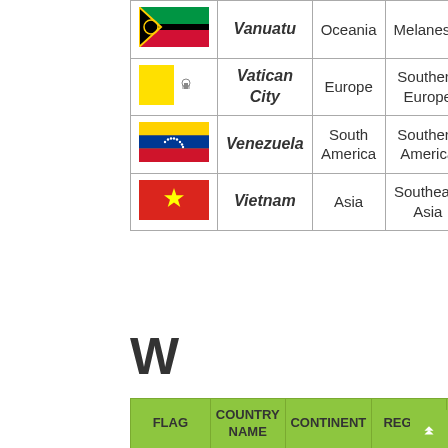| FLAG | COUNTRY NAME | CONTINENT | REGION |
| --- | --- | --- | --- |
| [Vanuatu flag] | Vanuatu | Oceania | Melanesia |
| [Vatican City flag] | Vatican City | Europe | Southern Europe |
| [Venezuela flag] | Venezuela | South America | Southern America |
| [Vietnam flag] | Vietnam | Asia | Southeast Asia |
W
| FLAG | COUNTRY NAME | CONTINENT | REGION | ... |
| --- | --- | --- | --- | --- |
| [Wallis and Futuna flag] | Wallis and Futuna | Oceania | Polynesia | ... |